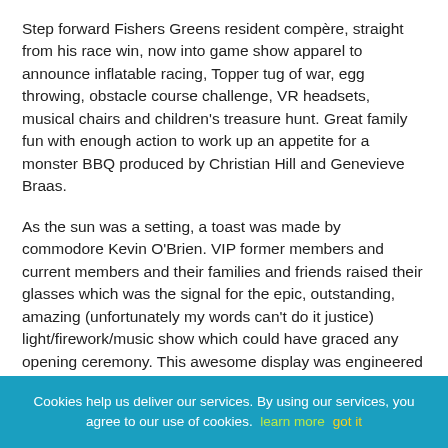Step forward Fishers Greens resident compère, straight from his race win, now into game show apparel to announce inflatable racing, Topper tug of war, egg throwing, obstacle course challenge, VR headsets, musical chairs and children's treasure hunt. Great family fun with enough action to work up an appetite for a monster BBQ produced by Christian Hill and Genevieve Braas.
As the sun was a setting, a toast was made by commodore Kevin O'Brien. VIP former members and current members and their families and friends raised their glasses which was the signal for the epic, outstanding, amazing (unfortunately my words can't do it justice) light/firework/music show which could have graced any opening ceremony. This awesome display was engineered by new members Karl Moss and Matt Stolton who are also the driving force behind the resurgent windsurfing fleet. Finally 3 kegs of beer, from the New River Brewery, ensured that a good night was
Cookies help us deliver our services. By using our services, you agree to our use of cookies. learn more   got it